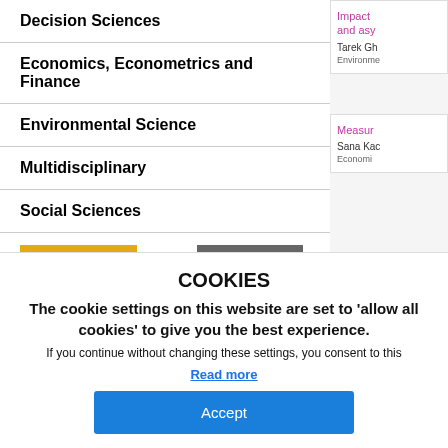Decision Sciences
Economics, Econometrics and Finance
Environmental Science
Multidisciplinary
Social Sciences
SEARCH   CLEAR
Impact and asy...
Tarek Gh...
Environme...
Measur...
Sana Kac...
Economi...
COOKIES
The cookie settings on this website are set to 'allow all cookies' to give you the best experience.
If you continue without changing these settings, you consent to this
Read more
Accept